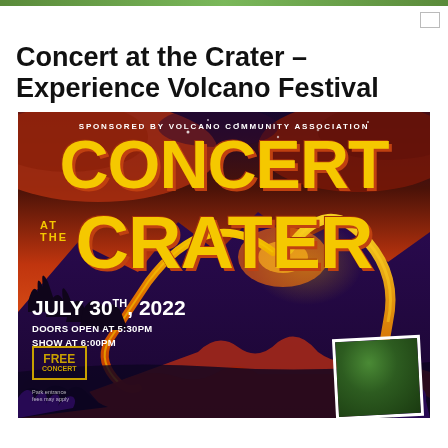Concert at the Crater – Experience Volcano Festival
[Figure (illustration): Event poster for 'Concert at the Crater' – Experience Volcano Festival. Sponsored by Volcano Community Association. Bold yellow text 'CONCERT AT THE CRATER' over a volcanic eruption illustration with purple mountains, orange sky, and lava flows. Date: July 30th, 2022. Doors open at 5:30PM, Show at 6:00PM. Free Concert (park entrance fees may apply). A photo thumbnail appears in the bottom right corner.]